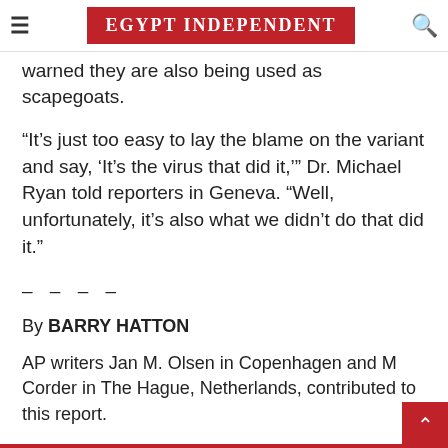EGYPT INDEPENDENT
warned they are also being used as scapegoats.
“It’s just too easy to lay the blame on the variant and say, ‘It’s the virus that did it,’” Dr. Michael Ryan told reporters in Geneva. “Well, unfortunately, it’s also what we didn’t do that did it.”
- - - -
By BARRY HATTON
AP writers Jan M. Olsen in Copenhagen and M Corder in The Hague, Netherlands, contributed to this report.